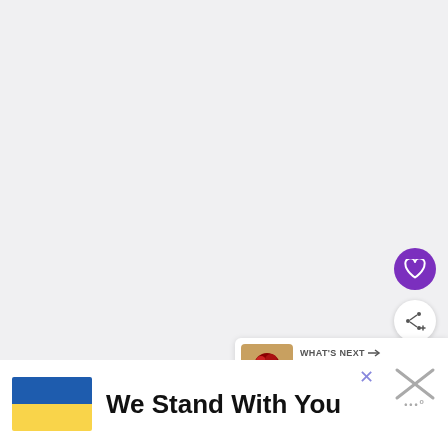[Figure (screenshot): Light gray background area filling most of the page, representing a web page content area with UI overlay buttons]
[Figure (other): Purple circular heart/favorite button]
[Figure (other): White circular share/add button with share icon]
[Figure (other): What's Next panel showing a thumbnail of food (raspberry) and text 'WHAT'S NEXT → Easy Seedless Raspberry...']
[Figure (other): Ukraine solidarity banner at bottom with blue and yellow flag, text 'We Stand With You', close button (×) in blue, and X/Waze-like logo on right]